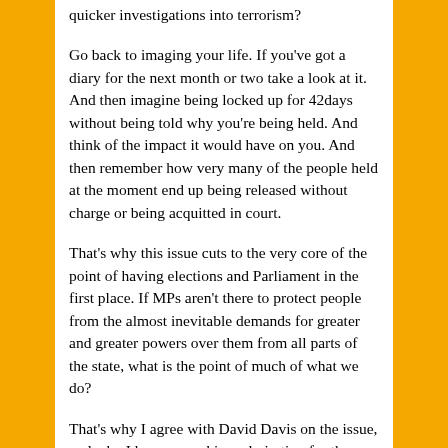quicker investigations into terrorism?
Go back to imaging your life. If you've got a diary for the next month or two take a look at it. And then imagine being locked up for 42days without being told why you're being held. And think of the impact it would have on you. And then remember how very many of the people held at the moment end up being released without charge or being acquitted in court.
That's why this issue cuts to the very core of the point of having elections and Parliament in the first place. If MPs aren't there to protect people from the almost inevitable demands for greater and greater powers over them from all parts of the state, what is the point of much of what we do?
That's why I agree with David Davis on the issue, and why I have a sneaking admiration for the insight or bravery or zaniness or call it whatever you will that he showed in forcing the 42 days issue to stay at the